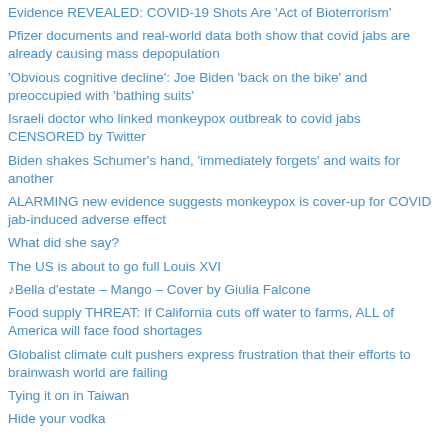Evidence REVEALED: COVID-19 Shots Are 'Act of Bioterrorism'
Pfizer documents and real-world data both show that covid jabs are already causing mass depopulation
'Obvious cognitive decline': Joe Biden 'back on the bike' and preoccupied with 'bathing suits'
Israeli doctor who linked monkeypox outbreak to covid jabs CENSORED by Twitter
Biden shakes Schumer's hand, 'immediately forgets' and waits for another
ALARMING new evidence suggests monkeypox is cover-up for COVID jab-induced adverse effect
What did she say?
The US is about to go full Louis XVI
♪Bella d'estate – Mango – Cover by Giulia Falcone
Food supply THREAT: If California cuts off water to farms, ALL of America will face food shortages
Globalist climate cult pushers express frustration that their efforts to brainwash world are failing
Tying it on in Taiwan
Hide your vodka